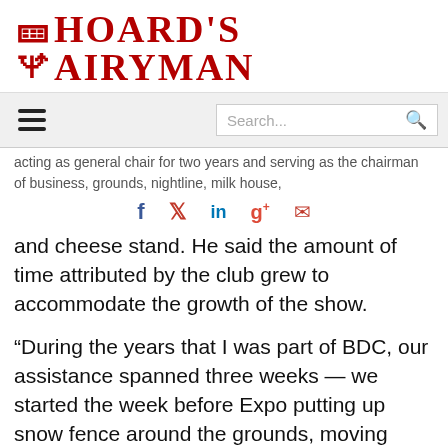HOARD'S DAIRYMAN
[Figure (screenshot): Navigation bar with hamburger menu icon (three horizontal lines) on the left and a search bar with search icon on the right, on a light gray background.]
acting as general chair for two years and serving as the chairman of business, grounds, nightline, milk house,
[Figure (infographic): Social media sharing icons row: Facebook (f), Twitter (bird), LinkedIn (in), Google+ (g+), Email (envelope) — in red and standard brand colors.]
and cheese stand. He said the amount of time attributed by the club grew to accommodate the growth of the show.
“During the years that I was part of BDC, our assistance spanned three weeks — we started the week before Expo putting up snow fence around the grounds, moving many of the show materials from the Expo offices to the grounds, and going out to Tate’s Trees to get the dozens of evergreens that were used to surround the showring.”